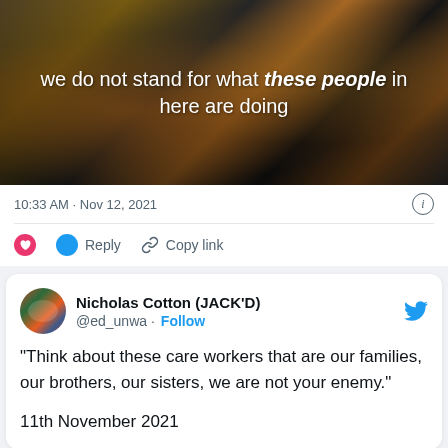[Figure (screenshot): Video still showing a person in a brown and black patterned dress with white overlay text reading: 'we do not stand for what these people in here are doing']
10:33 AM · Nov 12, 2021
Reply   Copy link
Nicholas Cotton (JACK'D) @ed_unwa · Follow
"Think about these care workers that are our families, our brothers, our sisters, we are not your enemy."
11th November 2021